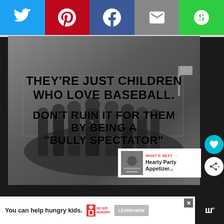[Figure (infographic): Social media share bar with Twitter (blue), Pinterest (red), Facebook (blue), Email (gray), and Copy (green) buttons]
[Figure (photo): Black and white photo of youth baseball players huddled together, with overlaid bold text quote: They're just children who love baseball. Don't ruin it for them by being a 'bully spectator']
They're just children who love baseball. Don't ruin it for them by being a "BULLY SPECTATOR"
[Figure (infographic): What's Next panel showing Hearty Party Appetizer... thumbnail and link]
WHAT'S NEXT → Hearty Party Appetizer...
[Figure (infographic): Advertisement banner: You can help hungry kids. No Kid Hungry logo. LEARN HOW button.]
You can help hungry kids.